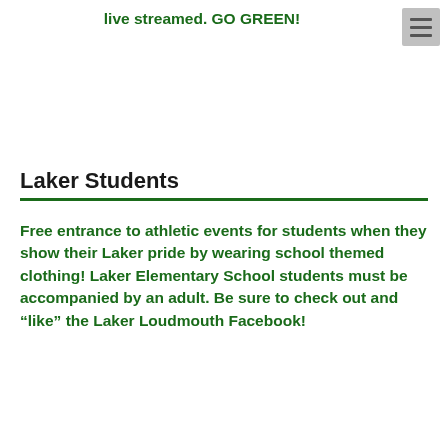live streamed. GO GREEN!
Laker Students
Free entrance to athletic events for students when they show their Laker pride by wearing school themed clothing! Laker Elementary School students must be accompanied by an adult. Be sure to check out and “like” the Laker Loudmouth Facebook!